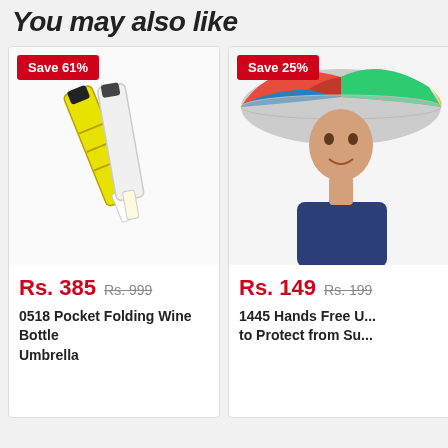You may also like
[Figure (photo): Product card showing a yellow folding wine bottle umbrella with Save 61% badge, priced at Rs. 385 (original Rs. 999)]
Save 61%
Rs. 385  Rs. 999
0518 Pocket Folding Wine Bottle Umbrella
[Figure (photo): Product card showing a person wearing a colorful hands-free umbrella hat with Save 25% badge, priced at Rs. 149 (original Rs. 199)]
Save 25%
Rs. 149  Rs. 199
1445 Hands Free Umbrella to Protect from Su...